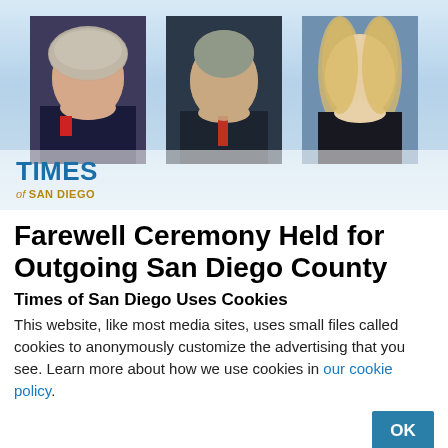[Figure (photo): Header banner with three official portrait photos and Times of San Diego logo on a blue-white gradient background. Three people shown: an older woman with white/gray hair wearing red, an older man with gray hair in a suit and red tie, and a younger blonde woman in a dark jacket.]
Farewell Ceremony Held for Outgoing San Diego County
Times of San Diego Uses Cookies
This website, like most media sites, uses small files called cookies to anonymously customize the advertising that you see. Learn more about how we use cookies in our cookie policy.
OK